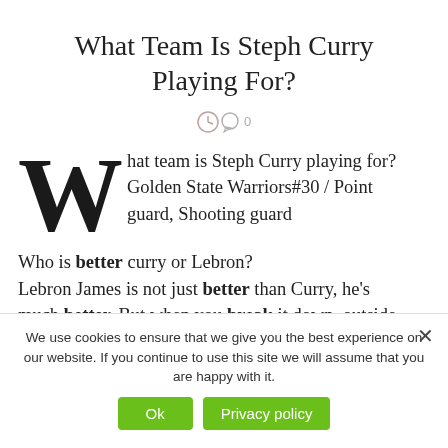What Team Is Steph Curry Playing For?
[Figure (other): Meta/social icons: clock icon, speech bubble icon with '0' count]
What team is Steph Curry playing for? Golden State Warriors#30 / Point guard, Shooting guard
Who is better curry or Lebron?
Lebron James is not just better than Curry, he's much better. But when you break it down, outside of shooting itself, Curry is literally only better at steals. Lebron beats him in every other category including assists. Lebron even averages more points despite Curry being the better shooter.
We use cookies to ensure that we give you the best experience on our website. If you continue to use this site we will assume that you are happy with it.
Ok
Privacy policy